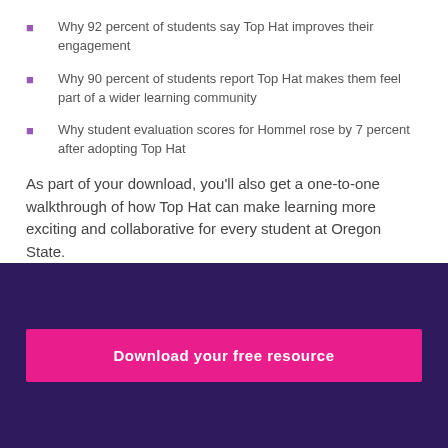Why 92 percent of students say Top Hat improves their engagement
Why 90 percent of students report Top Hat makes them feel part of a wider learning community
Why student evaluation scores for Hommel rose by 7 percent after adopting Top Hat
As part of your download, you'll also get a one-to-one walkthrough of how Top Hat can make learning more exciting and collaborative for every student at Oregon State.
Download your free resource